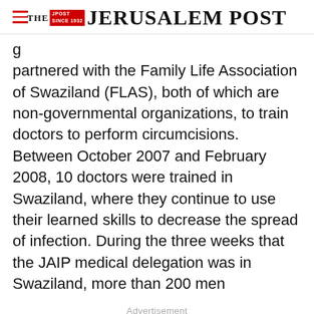THE JERUSALEM POST
partnered with the Family Life Association of Swaziland (FLAS), both of which are non-governmental organizations, to train doctors to perform circumcisions. Between October 2007 and February 2008, 10 doctors were trained in Swaziland, where they continue to use their learned skills to decrease the spread of infection. During the three weeks that the JAIP medical delegation was in Swaziland, more than 200 men
Advertisement